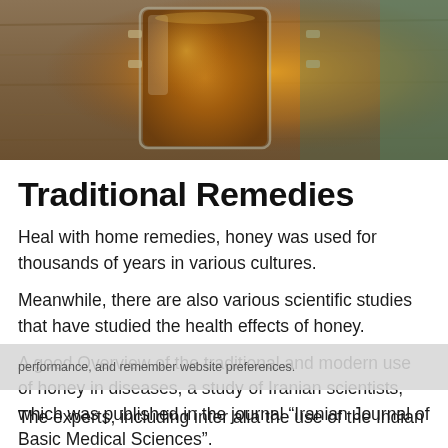[Figure (photo): A glass jar filled with golden amber honey on a wooden surface, photographed from above/side angle.]
Traditional Remedies
Heal with home remedies, honey was used for thousands of years in various cultures.
Meanwhile, there are also various scientific studies that have studied the health effects of honey.
A good Overview of the traditional and modern use of honey in diseases, a study of Iranian scientists, which was published in the journal “Iranian Journal of Basic Medical Sciences”.
The experts, including inter alia the use of the Indian